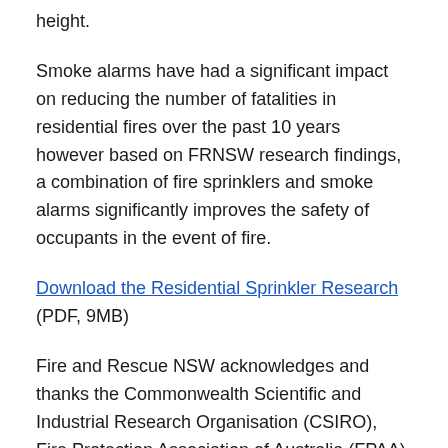height.
Smoke alarms have had a significant impact on reducing the number of fatalities in residential fires over the past 10 years however based on FRNSW research findings, a combination of fire sprinklers and smoke alarms significantly improves the safety of occupants in the event of fire.
Download the Residential Sprinkler Research (PDF, 9MB)
Fire and Rescue NSW acknowledges and thanks the Commonwealth Scientific and Industrial Research Organisation (CSIRO), Fire Protection Association of Australia (FPAA), Australasian Fire and Emergency Service Authorities Council (AFAC), Australian Building Codes Board (ABCB) and its member agencies and industry partners for their generous